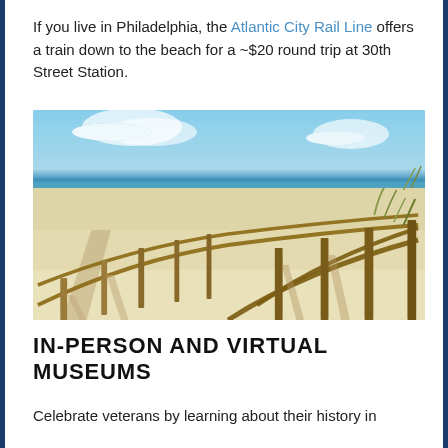If you live in Philadelphia, the Atlantic City Rail Line offers a train down to the beach for a ~$20 round trip at 30th Street Station.
[Figure (photo): A sunny beach scene with a wooden split-rail fence lining a sandy path leading toward the ocean, blue sky with clouds above, and sea grass on the sides.]
IN-PERSON AND VIRTUAL MUSEUMS
Celebrate veterans by learning about their history in